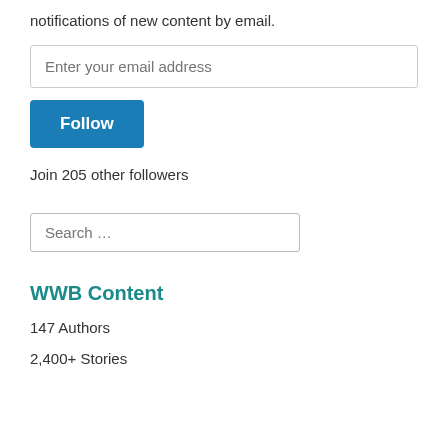notifications of new content by email.
Enter your email address
Follow
Join 205 other followers
Search …
WWB Content
147 Authors
2,400+ Stories